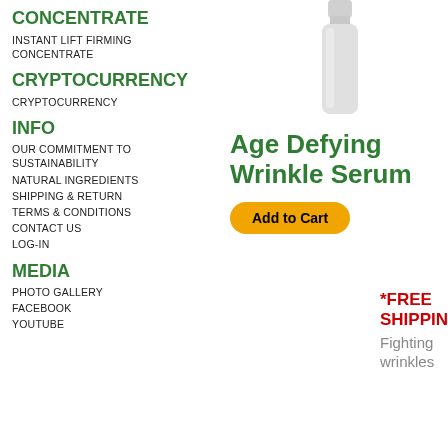CONCENTRATE
INSTANT LIFT FIRMING CONCENTRATE
CRYPTOCURRENCY
CRYPTOCURRENCY
INFO
OUR COMMITMENT TO SUSTAINABILITY
NATURAL INGREDIENTS
SHIPPING & RETURN
TERMS & CONDITIONS
CONTACT US
LOG-IN
MEDIA
PHOTO GALLERY
FACEBOOK
YOUTUBE
[Figure (photo): Serum bottle product image, white/gray cylindrical bottle]
Age Defying Wrinkle Serum
Add to Cart
*FREE SHIPPING
Fighting wrinkles